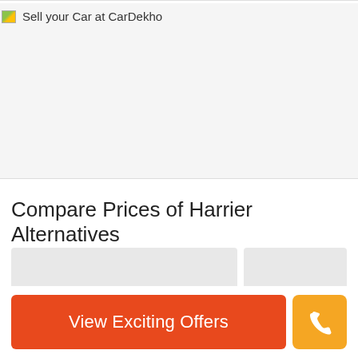[Figure (screenshot): Sell your Car at CarDekho banner image placeholder showing broken image icon and alt text]
Compare Prices of Harrier Alternatives
[Figure (illustration): Two card placeholders showing alternative car comparison cards, light grey boxes]
View Exciting Offers
[Figure (illustration): Orange phone call button with phone handset icon]